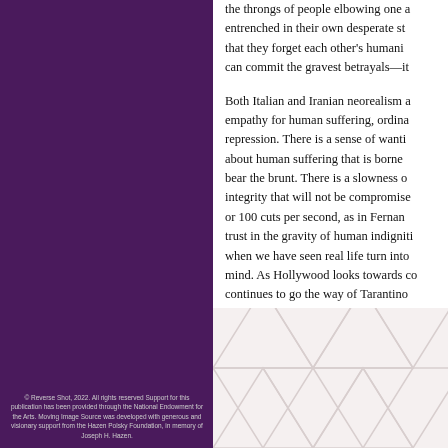the throngs of people elbowing one another, entrenched in their own desperate struggles, that they forget each other's humanity and can commit the gravest betrayals—it

Both Italian and Iranian neorealism a empathy for human suffering, ordina repression. There is a sense of wanti about human suffering that is borne bear the brunt. There is a slowness o integrity that will not be compromise or 100 cuts per second, as in Fernan trust in the gravity of human indigniti when we have seen real life turn into mind. As Hollywood looks towards co continues to go the way of Tarantino those works of art that take our soci
[Figure (illustration): Decorative geometric triangle pattern in light gray/beige on white background, lower right quadrant of page]
© Reverse Shot, 2022. All rights reserved Support for this publication has been provided through the National Endowment for the Arts. Moving Image Source was developed with generous and visionary support from the Hazen Polsky Foundation, in memory of Joseph H. Hazen.